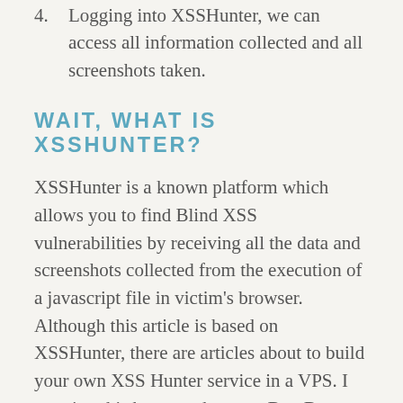4. Logging into XSSHunter, we can access all information collected and all screenshots taken.
WAIT, WHAT IS XSSHUNTER?
XSSHunter is a known platform which allows you to find Blind XSS vulnerabilities by receiving all the data and screenshots collected from the execution of a javascript file in victim's browser. Although this article is based on XSSHunter, there are articles about to build your own XSS Hunter service in a VPS. I mention this because there are Bug Bounty programs that are worried about sending potentially sensitive information to a third